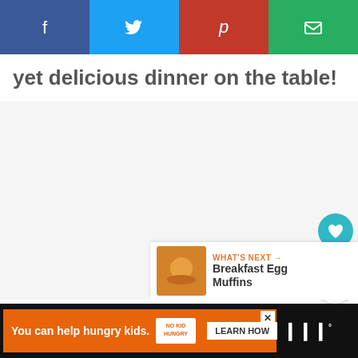[Figure (infographic): Social share bar with Facebook (blue), Twitter (light blue), Pinterest (red), and Email (green) buttons]
yet delicious dinner on the table!
[Figure (infographic): Light gray content placeholder area with a teal heart/like button showing 10.6K likes and a white share button on the right side, plus a 'WHAT'S NEXT' card showing 'Breakfast Egg Muffins' with a food thumbnail]
[Figure (infographic): Orange advertisement banner: 'You can help hungry kids.' with No Kid Hungry logo and 'LEARN HOW' button on dark background]